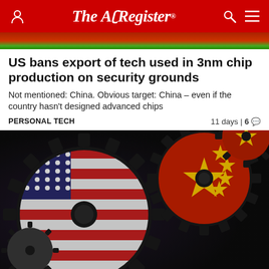The Register
[Figure (photo): Partial photo strip at top showing red and green colors, partially cut off]
US bans export of tech used in 3nm chip production on security grounds
Not mentioned: China. Obvious target: China – even if the country hasn't designed advanced chips
PERSONAL TECH    11 days | 6 💬
[Figure (photo): Photo of interlocking gears decorated with US flag (blue/stars and red/white stripes) and Chinese flag (red with yellow stars), symbolizing US-China tech rivalry]